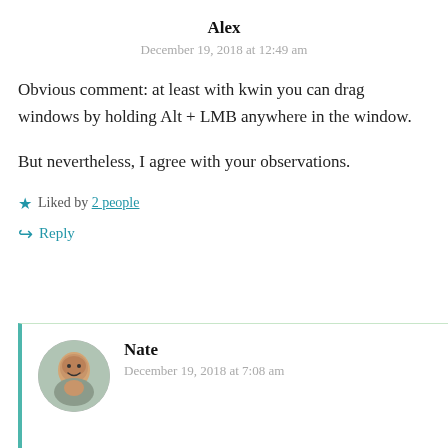Alex
December 19, 2018 at 12:49 am
Obvious comment: at least with kwin you can drag windows by holding Alt + LMB anywhere in the window.

But nevertheless, I agree with your observations.
Liked by 2 people
Reply
Nate
December 19, 2018 at 7:08 am